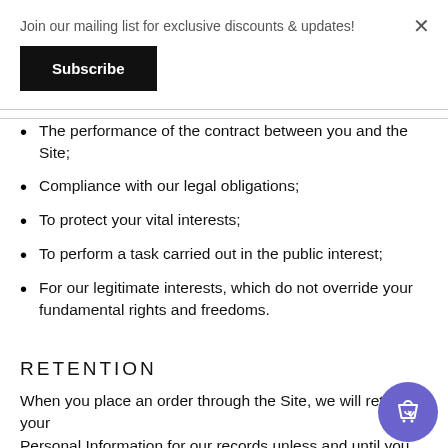Join our mailing list for exclusive discounts & updates!
Subscribe
The performance of the contract between you and the Site;
Compliance with our legal obligations;
To protect your vital interests;
To perform a task carried out in the public interest;
For our legitimate interests, which do not override your fundamental rights and freedoms.
RETENTION
When you place an order through the Site, we will retain your Personal Information for our records unless and until you ask us